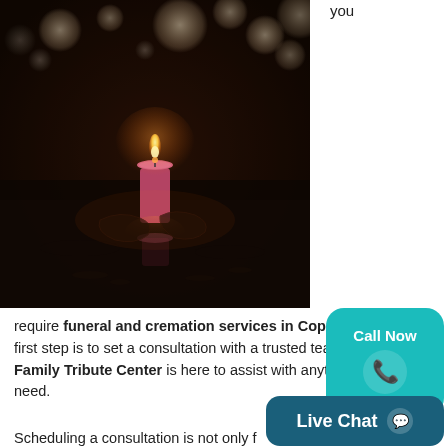[Figure (photo): Dark atmospheric photograph of a lit pink candle on a reflective surface with bokeh lights in the background]
you
require funeral and cremation services in Coppell, T[X, the] first step is to set a consultation with a trusted team[.] Hughes Family Tribute Center is here to assist with anything that you need.
Scheduling a consultation is not only f[or]...